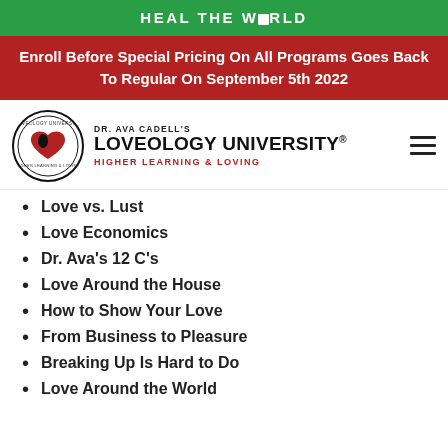HEAL THE WORLD
Enroll Before Special Pricing On All Programs Goes Back To Regular On September 5th 2022
[Figure (logo): Dr. Ava Cadell's Loveology University logo with circular emblem showing a heart, text HIGHER LEARNING & LOVING]
Love vs. Lust
Love Economics
Dr. Ava's 12 C's
Love Around the House
How to Show Your Love
From Business to Pleasure
Breaking Up Is Hard to Do
Love Around the World